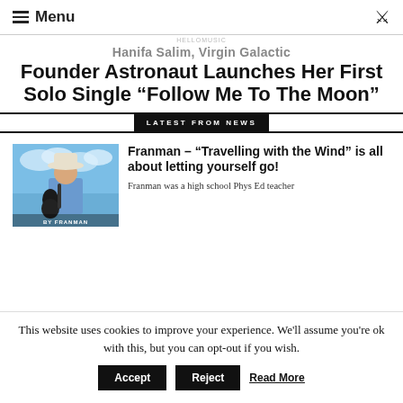Menu
Hanifa Salim, Virgin Galactic Founder Astronaut Launches Her First Solo Single “Follow Me To The Moon”
LATEST FROM NEWS
[Figure (photo): Album cover of Franman showing a man in a white cowboy hat playing a guitar against a blue sky background. Text reads 'By FRANMAN'.]
Franman – “Travelling with the Wind” is all about letting yourself go!
Franman was a high school Phys Ed teacher
This website uses cookies to improve your experience. We'll assume you're ok with this, but you can opt-out if you wish. Accept Reject Read More